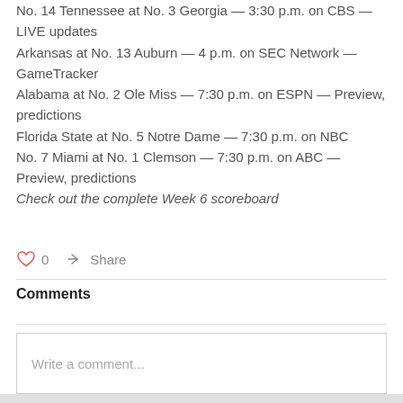No. 14 Tennessee at No. 3 Georgia — 3:30 p.m. on CBS — LIVE updates
Arkansas at No. 13 Auburn — 4 p.m. on SEC Network — GameTracker
Alabama at No. 2 Ole Miss — 7:30 p.m. on ESPN — Preview, predictions
Florida State at No. 5 Notre Dame — 7:30 p.m. on NBC
No. 7 Miami at No. 1 Clemson — 7:30 p.m. on ABC — Preview, predictions
Check out the complete Week 6 scoreboard
Comments
Write a comment...